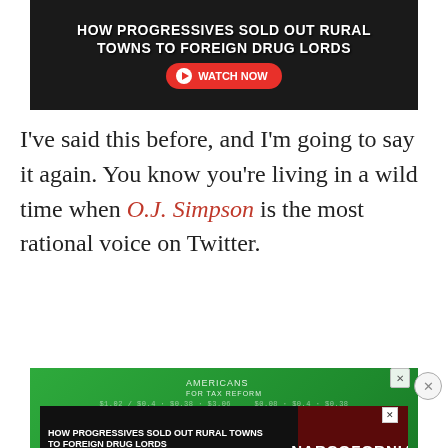[Figure (photo): Advertisement showing cannabis leaves with text about foreign drug lords and a Watch Now button]
I've said this before, and I'm going to say it again. You know you're living in a wild time when O.J. Simpson is the most rational voice on Twitter.
[Figure (photo): Green advertisement for Americans for Tax Reform: Don't Let Big Government Swipe Your Credit Card Rewards DECLINE THE]
[Figure (photo): Bottom ad: How Progressives Sold Out Rural Towns to Foreign Drug Lords - Narcofornia, Watch Now button]